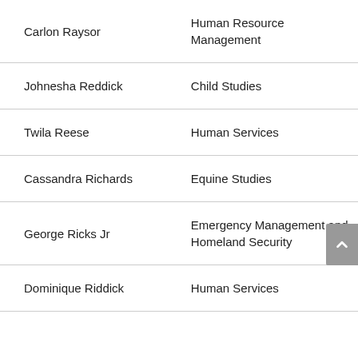| Name | Program |
| --- | --- |
| Carlon Raysor | Human Resource Management |
| Johnesha Reddick | Child Studies |
| Twila Reese | Human Services |
| Cassandra Richards | Equine Studies |
| George Ricks Jr | Emergency Management and Homeland Security |
| Dominique Riddick | Human Services |